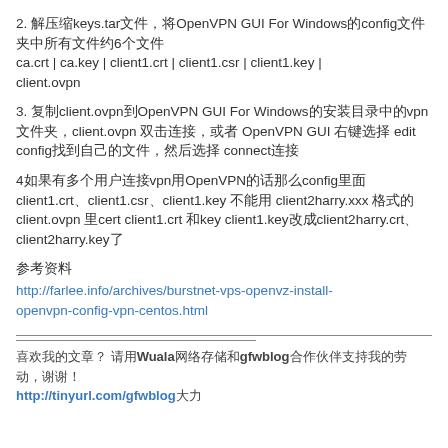2. 解压缩keys.tar文件，将OpenVPN GUI For Windows的config文件夹中所有文件约6个文件
ca.crt | ca.key | client1.crt | client1.csr | client1.key | client.ovpn
3. 复制client.ovpn到OpenVPN GUI For Windows的安装目录中的vpn文件夹，client.ovpn 双击连接，或者 OpenVPN GUI 右键选择 edit config找到自己的文件，然后选择 connect连接
4如果有多个用户连接vpn用OpenVPN的话那么config里面 client1.crt、client1.csr、client1.key 不能用 client2harry.xxx 格式的client.ovpn 里cert client1.crt 和key client1.key改成client2harry.crt、client2harry.key了
参考资料
http://farlee.info/archives/burstnet-vps-openvz-install-openvpn-config-vpn-centos.html
喜欢我的文章？ 请用Wuala网络存储和gfwblog合作伙伴支持我的劳动，谢谢！
http://tinyurl.com/gfwblog大力